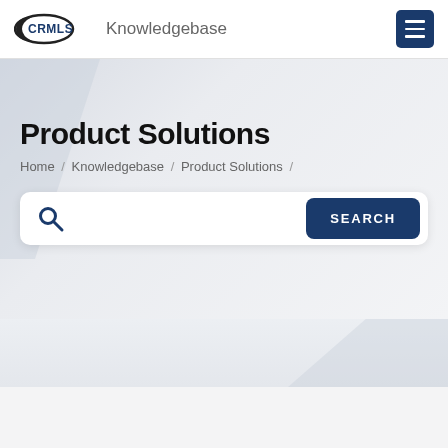CRMLS Knowledgebase
Product Solutions
Home / Knowledgebase / Product Solutions /
[Figure (screenshot): Search bar with magnifying glass icon on left and blue SEARCH button on right]